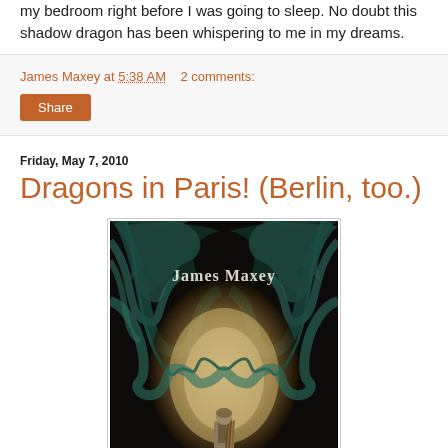my bedroom right before I was going to sleep. No doubt this shadow dragon has been whispering to me in my dreams.
James Maxey at 5:38 AM   2 comments:
Share
Friday, May 7, 2010
Dragons in Paris! (Berlin, too.)
[Figure (illustration): Book cover illustration showing a fantasy warrior standing in a cave or archway surrounded by large dark dragons, with 'James Maxey' text overlay.]